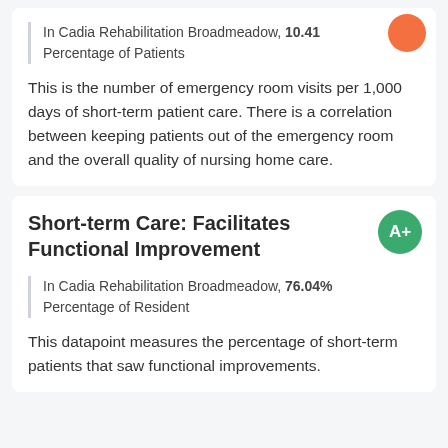In Cadia Rehabilitation Broadmeadow, 10.41 Percentage of Patients
This is the number of emergency room visits per 1,000 days of short-term patient care. There is a correlation between keeping patients out of the emergency room and the overall quality of nursing home care.
Short-term Care: Facilitates Functional Improvement
In Cadia Rehabilitation Broadmeadow, 76.04% Percentage of Resident
This datapoint measures the percentage of short-term patients that saw functional improvements.